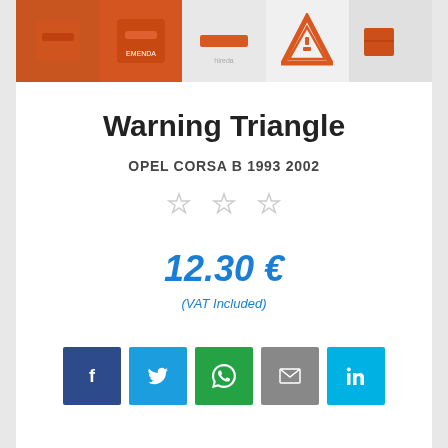[Figure (photo): Row of five thumbnail images showing orange warning triangle product from different angles]
Warning Triangle
OPEL CORSA B 1993 2002
[Figure (other): Three grey star rating icons (no stars filled)]
12.30 €
(VAT Included)
[Figure (other): Row of five social share buttons: Facebook, Twitter/share, WhatsApp, Email, LinkedIn]